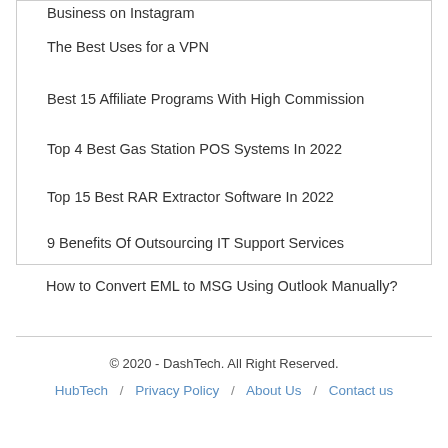Business on Instagram
The Best Uses for a VPN
Best 15 Affiliate Programs With High Commission
Top 4 Best Gas Station POS Systems In 2022
Top 15 Best RAR Extractor Software In 2022
9 Benefits Of Outsourcing IT Support Services
How to Convert EML to MSG Using Outlook Manually?
© 2020 - DashTech. All Right Reserved. HubTech / Privacy Policy / About Us / Contact us